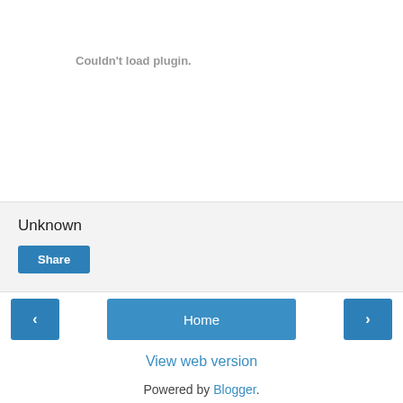Couldn't load plugin.
Unknown
Share
Home
View web version
Powered by Blogger.